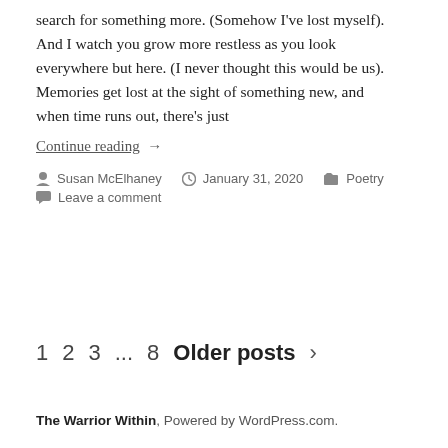search for something more. (Somehow I've lost myself). And I watch you grow more restless as you look everywhere but here. (I never thought this would be us). Memories get lost at the sight of something new, and when time runs out, there's just
Continue reading  →
Susan McElhaney   January 31, 2020   Poetry   Leave a comment
1  2  3  ...  8  Older posts  >
The Warrior Within, Powered by WordPress.com.